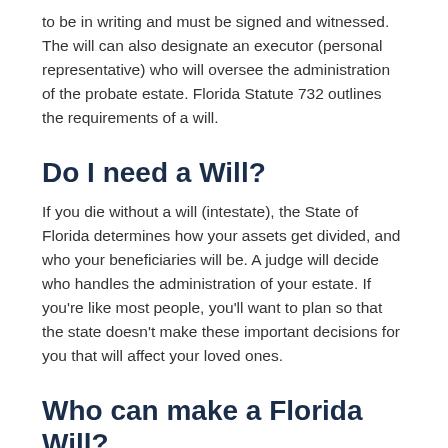to be in writing and must be signed and witnessed. The will can also designate an executor (personal representative) who will oversee the administration of the probate estate. Florida Statute 732 outlines the requirements of a will.
Do I need a Will?
If you die without a will (intestate), the State of Florida determines how your assets get divided, and who your beneficiaries will be. A judge will decide who handles the administration of your estate. If you're like most people, you'll want to plan so that the state doesn't make these important decisions for you that will affect your loved ones.
Who can make a Florida Will?
Any person who is of sound mind and who is either